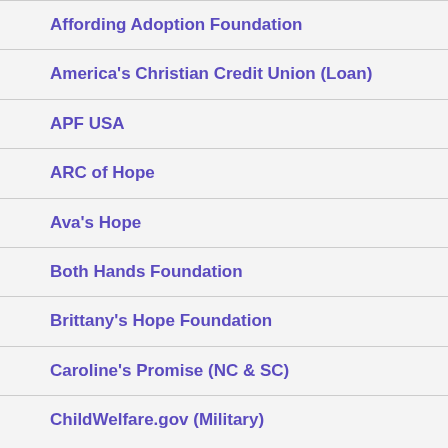Affording Adoption Foundation
America's Christian Credit Union (Loan)
APF USA
ARC of Hope
Ava's Hope
Both Hands Foundation
Brittany's Hope Foundation
Caroline's Promise (NC & SC)
ChildWelfare.gov (Military)